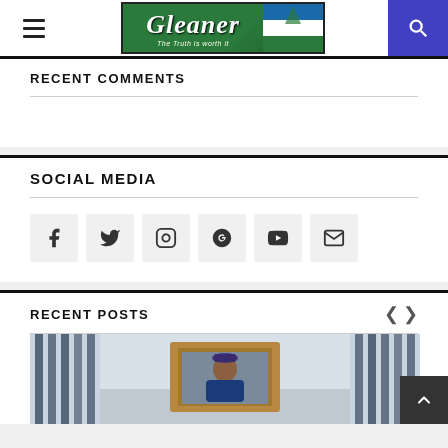Gleaner — The Truth is worth it
RECENT COMMENTS
SOCIAL MEDIA
RECENT POSTS
[Figure (photo): Photograph showing a framed portrait photo on a desk, with blue curtains visible in the background]